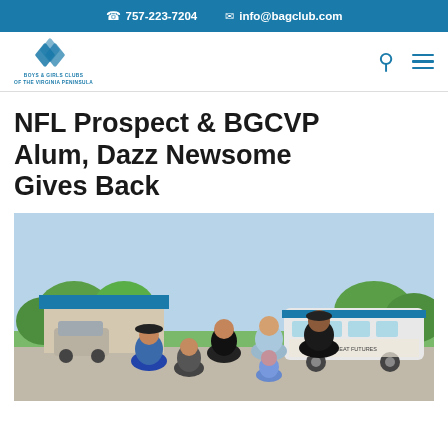757-223-7204   info@bagclub.com
[Figure (logo): Boys & Girls Clubs of the Virginia Peninsula logo — blue interlocking diamond shapes above text]
NFL Prospect & BGCVP Alum, Dazz Newsome Gives Back
[Figure (photo): Group photo of people standing outdoors in front of a building with a blue roof and a decorated bus that reads 'Great Futures Start Here'. Some people are wearing face masks. The group includes adults and children.]